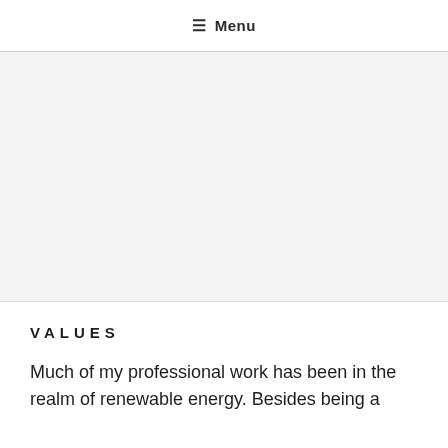≡ Menu
[Figure (other): Gray banner area, likely a placeholder for an image or advertisement]
VALUES
Much of my professional work has been in the realm of renewable energy. Besides being a